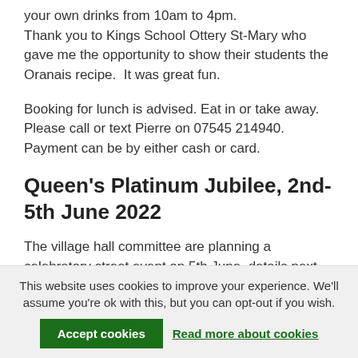your own drinks from 10am to 4pm. Thank you to Kings School Ottery St-Mary who gave me the opportunity to show their students the Oranais recipe. It was great fun.
Booking for lunch is advised. Eat in or take away. Please call or text Pierre on 07545 214940. Payment can be by either cash or card.
Queen's Platinum Jubilee, 2nd-5th June 2022
The village hall committee are planning a celebratory street event on 5th June, details next
This website uses cookies to improve your experience. We'll assume you're ok with this, but you can opt-out if you wish. Accept cookies Read more about cookies